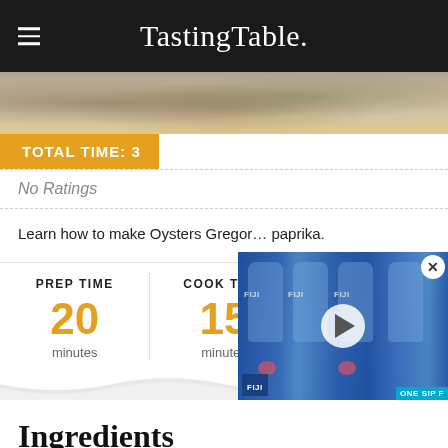TastingTable.
[Figure (photo): Food photo banner showing oysters and food items, partially visible]
TOTAL TIME: 3
[Figure (screenshot): FIJI water bottles video advertisement overlay with play button]
No Ratings
Learn how to make Oysters Gregor… paprika.
| PREP TIME | COOK TIME | SERVINGS |
| --- | --- | --- |
| 20
minutes | 15
minutes | 12
oysters |
Ingredients